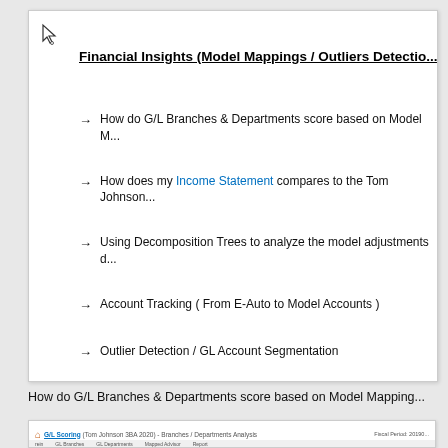Financial Insights (Model Mappings / Outliers Detection)
→ How do G/L Branches & Departments score based on Model M...
→ How does my Income Statement compares to the Tom Johnson...
→ Using Decomposition Trees to analyze the model adjustments d...
→ Account Tracking ( From E-Auto to Model Accounts )
→ Outlier Detection / GL Account Segmentation
How do G/L Branches & Departments score based on Model Mapping...
[Figure (screenshot): Screenshot of G/L Scoring report (Tom Johnson 3BA 2020) - Branches / Departments Analysis with navigation tabs]